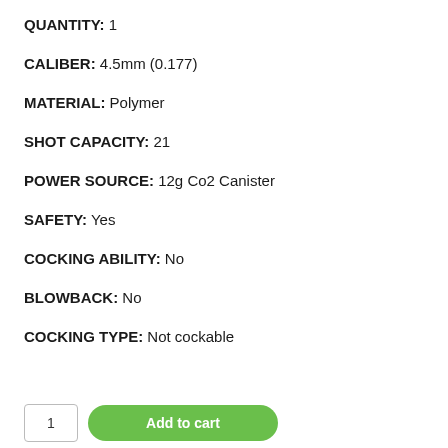QUANTITY: 1
CALIBER: 4.5mm (0.177)
MATERIAL: Polymer
SHOT CAPACITY: 21
POWER SOURCE: 12g Co2 Canister
SAFETY: Yes
COCKING ABILITY: No
BLOWBACK: No
COCKING TYPE: Not cockable